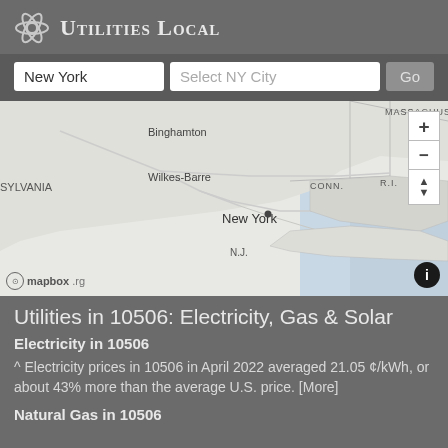Utilities Local
[Figure (map): Interactive map of northeastern United States showing New York state area with labels for Binghamton, Wilkes-Barre, New York, N.J., CONN., R.I., MASSACHUSETTS, SYLVANIA. Includes zoom controls (+/-) and info button. Mapbox attribution shown.]
Utilities in 10506: Electricity, Gas & Solar
Electricity in 10506
^ Electricity prices in 10506 in April 2022 averaged 21.05 ¢/kWh, or about 43% more than the average U.S. price. [More]
Natural Gas in 10506